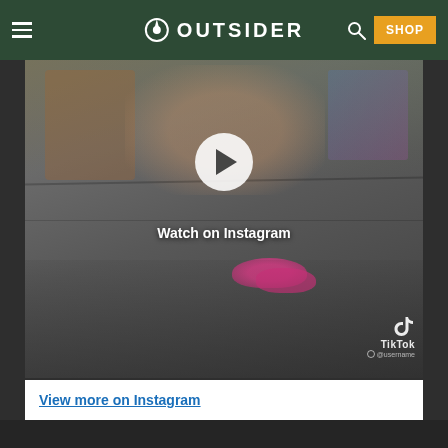OUTSIDER — navigation header with hamburger menu, logo, search icon, and SHOP button
[Figure (screenshot): Embedded Instagram/TikTok video thumbnail showing a person sitting on rock/concrete steps with pink shoes, with a play button overlay and 'Watch on Instagram' label. TikTok watermark visible in bottom right.]
Watch on Instagram
View more on Instagram